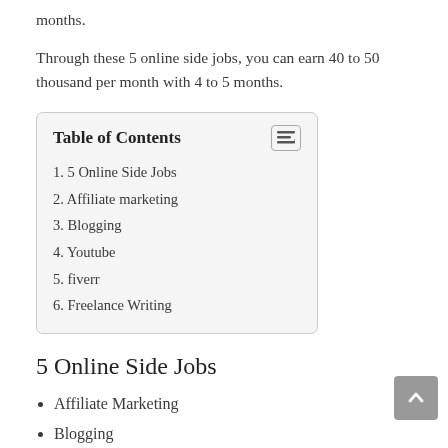months.
Through these 5 online side jobs, you can earn 40 to 50 thousand per month with 4 to 5 months.
| Table of Contents |
| --- |
| 1. 5 Online Side Jobs |
| 2. Affiliate marketing |
| 3. Blogging |
| 4. Youtube |
| 5. fiverr |
| 6. Freelance Writing |
5 Online Side Jobs
Affiliate Marketing
Blogging